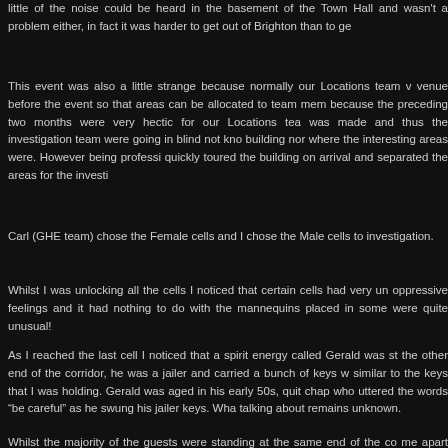little of the noise could be heard in the basement of the Town Hall and wasn't a problem either, in fact it was harder to get out of Brighton than to ge
This event was also a little strange because normally our Locations team v venue before the event so that areas can be allocated to team mem because the preceding two months were very hectic for our Locations tea was made and thus the investigation team were going in blind not kno building nor where the interesting areas were. However being professi quickly toured the building on arrival and separated the areas for the investi
Carl (GHE team) chose the Female cells and I chose the Male cells to investigation.
Whilst I was unlocking all the cells I noticed that certain cells had very un oppressive feelings and it had nothing to do with the mannequins placed in some were quite unusual!
As I reached the last cell I noticed that a spirit energy called Gerald was st the other end of the corridor, he was a jailer and carried a bunch of keys w similar to the keys that I was holding. Gerald was aged in his early 50s, quit chap who uttered the words “be careful” as he swung his jailer keys. Wha talking about remains unknown.
Whilst the majority of the guests were standing at the same end of the co me apart from one person who was in a cell we all heard a metal clanki which we all assumed was Bob (guest) as he was in the cell, however asked Bob what the noise was he said that he had not heard the sound made it. On inspecting the cell where Bob was nothing in this cell could h